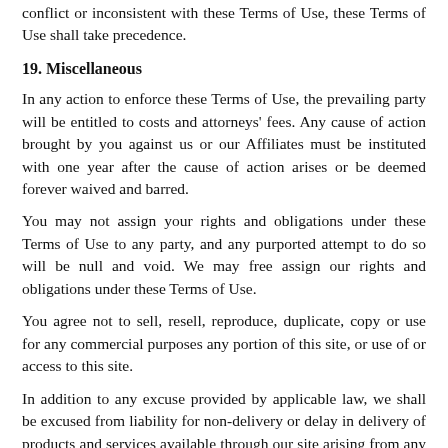conflict or inconsistent with these Terms of Use, these Terms of Use shall take precedence.
19. Miscellaneous
In any action to enforce these Terms of Use, the prevailing party will be entitled to costs and attorneys' fees. Any cause of action brought by you against us or our Affiliates must be instituted with one year after the cause of action arises or be deemed forever waived and barred.
You may not assign your rights and obligations under these Terms of Use to any party, and any purported attempt to do so will be null and void. We may free assign our rights and obligations under these Terms of Use.
You agree not to sell, resell, reproduce, duplicate, copy or use for any commercial purposes any portion of this site, or use of or access to this site.
In addition to any excuse provided by applicable law, we shall be excused from liability for non-delivery or delay in delivery of products and services available through our site arising from any event beyond our reasonable control